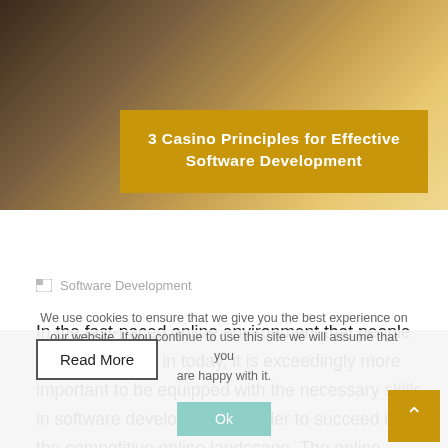[Figure (photo): Photo of a person, partially visible, with a yellow/gold background behind them. The image forms the top portion of a blog post card.]
3 Casino Principles for Effective Software Development
Software Development
In the fast-paced online environment that people find themselves in today, it is exceedingly more important to be equipped with the necessary skills in software development in order to succeed in the competitive online landscape. The online casino industry has
Read More
We use cookies to ensure that we give you the best experience on our website. If you continue to use this site we will assume that you are happy with it.
Ok